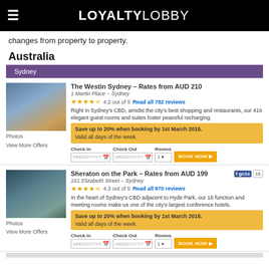LOYALTYLOBBY
changes from property to property.
Australia
Sydney
The Westin Sydney – Rates from AUD 210
1 Martin Place – Sydney
4.2 out of 5   Read all 782 reviews
Right in Sydney's CBD, amidst the city's best shopping and restaurants, our 416 elegant guest rooms and suites foster peaceful recharging.
Save up to 20% when booking by 1st March 2015. Valid all days of the week.
Photos
View More Offers
Sheraton on the Park – Rates from AUD 199
161 Elizabeth Street – Sydney
4.3 out of 5   Read all 970 reviews
In the heart of Sydney's CBD adjacent to Hyde Park, our 18 function and meeting rooms make us one of the city's largest conference hotels.
Save up to 20% when booking by 1st March 2015. Valid all days of the week.
Photos
View More Offers